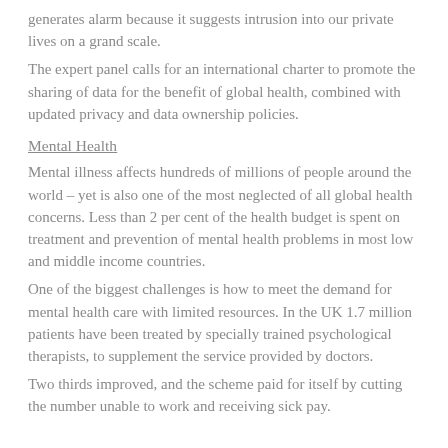generates alarm because it suggests intrusion into our private lives on a grand scale.
The expert panel calls for an international charter to promote the sharing of data for the benefit of global health, combined with updated privacy and data ownership policies.
Mental Health
Mental illness affects hundreds of millions of people around the world – yet is also one of the most neglected of all global health concerns. Less than 2 per cent of the health budget is spent on treatment and prevention of mental health problems in most low and middle income countries.
One of the biggest challenges is how to meet the demand for mental health care with limited resources. In the UK 1.7 million patients have been treated by specially trained psychological therapists, to supplement the service provided by doctors.
Two thirds improved, and the scheme paid for itself by cutting the number unable to work and receiving sick pay.